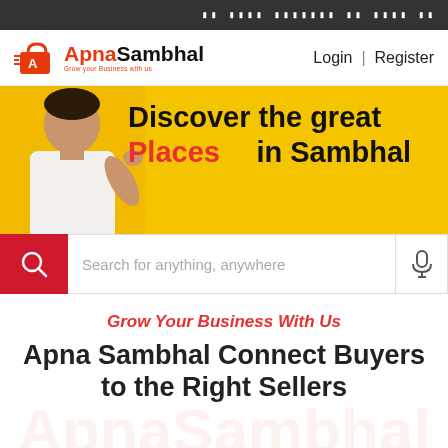हो सकते बेहतरीन का सबसे अच्छे
[Figure (logo): ApnaSambhal logo with orange shopping bag icon and text 'ApnaSambhal', tagline 'Grow your Business with us']
Login | Register
[Figure (infographic): Yellow hero banner with a man smiling, text 'Discover the great Places in Sambhal' and a red search bar with placeholder 'Search for anything, anywhere' and microphone icon]
Grow Your Business With Us
Apna Sambhal Connect Buyers to the Right Sellers